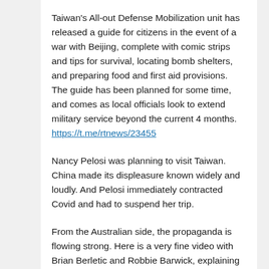Taiwan's All-out Defense Mobilization unit has released a guide for citizens in the event of a war with Beijing, complete with comic strips and tips for survival, locating bomb shelters, and preparing food and first aid provisions.  The guide has been planned for some time, and comes as local officials look to extend military service beyond the current 4 months. https://t.me/rtnews/23455
Nancy Pelosi was planning to visit Taiwan. China made its displeasure known widely and loudly. And Pelosi immediately contracted Covid and had to suspend her trip.
From the Australian side, the propaganda is flowing strong. Here is a very fine video with Brian Berletic and Robbie Barwick, explaining exactly what happened with the contretemps in the Solomon Islands, as well as the overall trajectory and the speed thereof, of Australia's belligerence against China. This video contains some interesting statements and supporting data. Seemingly, if